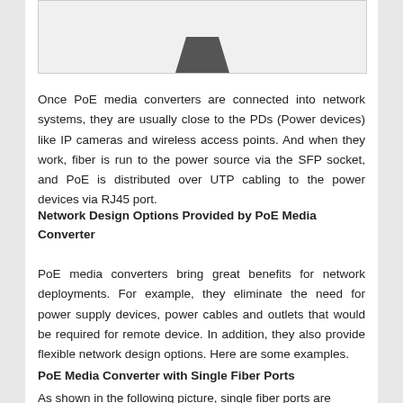[Figure (photo): A photo of a PoE media converter device shown against a white background, partially cropped at the top.]
Once PoE media converters are connected into network systems, they are usually close to the PDs (Power devices) like IP cameras and wireless access points. And when they work, fiber is run to the power source via the SFP socket, and PoE is distributed over UTP cabling to the power devices via RJ45 port.
Network Design Options Provided by PoE Media Converter
PoE media converters bring great benefits for network deployments. For example, they eliminate the need for power supply devices, power cables and outlets that would be required for remote device. In addition, they also provide flexible network design options. Here are some examples.
PoE Media Converter with Single Fiber Ports
As shown in the following picture, single fiber ports are